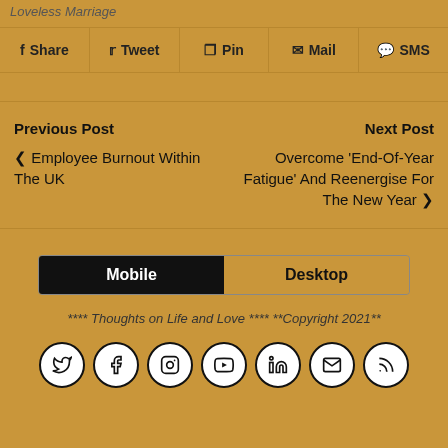Loveless Marriage
Share  Tweet  Pin  Mail  SMS
Previous Post
‹ Employee Burnout Within The UK
Next Post
Overcome 'End-Of-Year Fatigue' And Reenergise For The New Year ›
Mobile  Desktop
**** Thoughts on Life and Love **** **Copyright 2021**
[Figure (other): Social media icon row: Twitter, Facebook, Instagram, YouTube, LinkedIn, Mail, RSS]